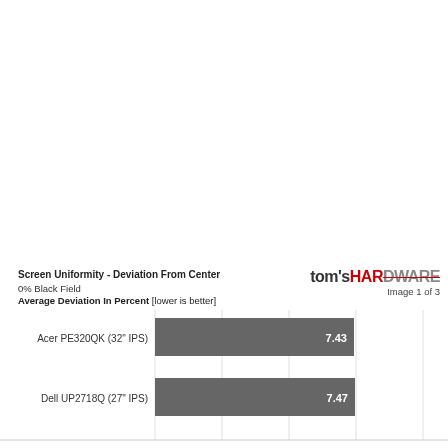[Figure (bar-chart): Screen Uniformity - Deviation From Center
0% Black Field
Average Deviation In Percent [lower is better]]
Image 1 of 3